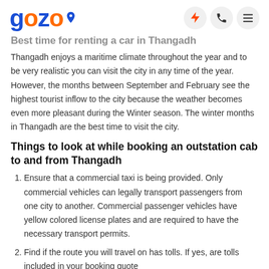gozo
Best time for renting a car in Thangadh
Thangadh enjoys a maritime climate throughout the year and to be very realistic you can visit the city in any time of the year. However, the months between September and February see the highest tourist inflow to the city because the weather becomes even more pleasant during the Winter season. The winter months in Thangadh are the best time to visit the city.
Things to look at while booking an outstation cab to and from Thangadh
Ensure that a commercial taxi is being provided. Only commercial vehicles can legally transport passengers from one city to another. Commercial passenger vehicles have yellow colored license plates and are required to have the necessary transport permits.
Find if the route you will travel on has tolls. If yes, are tolls included in your booking quote